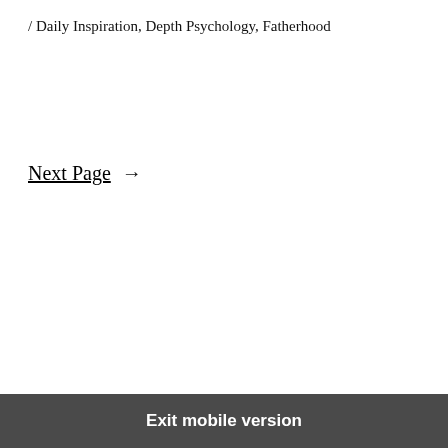/ Daily Inspiration, Depth Psychology, Fatherhood
Next Page →
Exit mobile version